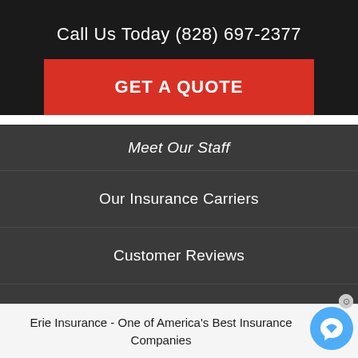Call Us Today (828) 697-2377
GET A QUOTE
Meet Our Staff
Our Insurance Carriers
Customer Reviews
Insurance Blog
Erie Insurance - One of America's Best Insurance Companies